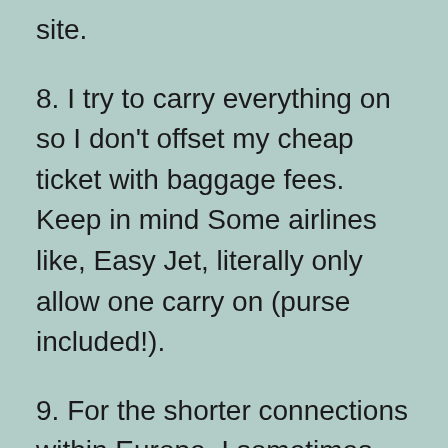site.
8. I try to carry everything on so I don't offset my cheap ticket with baggage fees. Keep in mind Some airlines like, Easy Jet, literally only allow one carry on (purse included!).
9. For the shorter connections within Europe, I sometimes search straight from the airlines. Some of my favorites include: Ryan Air, Air Berlin, Norwegian Air, and Vueling.
10. I heard somewhere Tuesday night is the best time to buy tickets and I've noticed I usually find my cheapest fares on that day. So